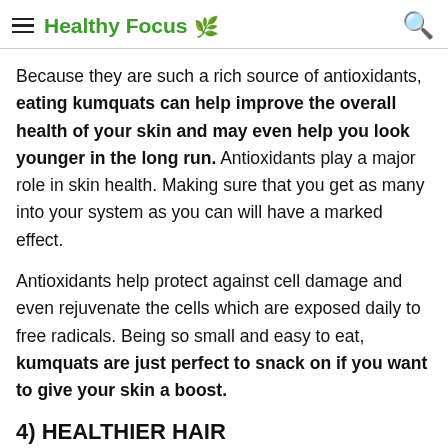Healthy Focus
Because they are such a rich source of antioxidants, eating kumquats can help improve the overall health of your skin and may even help you look younger in the long run. Antioxidants play a major role in skin health. Making sure that you get as many into your system as you can will have a marked effect.
Antioxidants help protect against cell damage and even rejuvenate the cells which are exposed daily to free radicals. Being so small and easy to eat, kumquats are just perfect to snack on if you want to give your skin a boost.
4) HEALTHIER HAIR